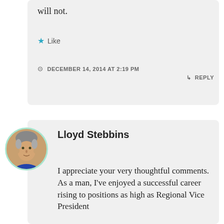will not.
★ Like
DECEMBER 14, 2014 AT 2:19 PM
↳ REPLY
[Figure (photo): Avatar photo of Lloyd Stebbins, a man with gray hair, circular crop with green border]
Lloyd Stebbins
I appreciate your very thoughtful comments. As a man, I've enjoyed a successful career rising to positions as high as Regional Vice President